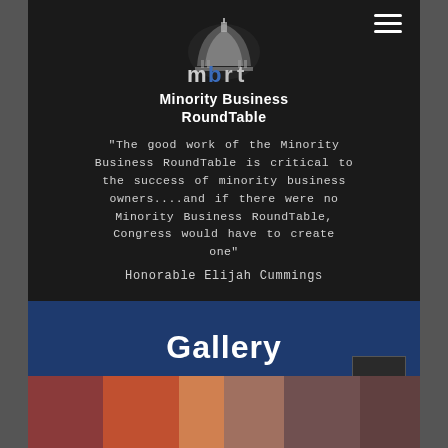[Figure (logo): MBRT - Minority Business RoundTable logo with Capitol building dome graphic. White dome icon above stylized 'mbrt' text in white/blue/gray letters, with 'Minority Business RoundTable' below in white.]
“The good work of the Minority Business RoundTable is critical to the success of minority business owners....and if there were no Minority Business RoundTable, Congress would have to create one”
Honorable Elijah Cummings
Gallery